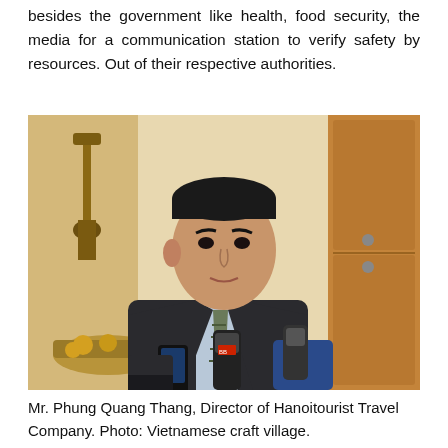besides the government like health, food security, the media for a communication station to verify safety by resources. Out of their respective authorities.
[Figure (photo): Mr. Phung Quang Thang, Director of Hanoitourist Travel Company, being interviewed by reporters with microphones, wearing a dark suit and striped tie, standing in front of wooden doors.]
Mr. Phung Quang Thang, Director of Hanoitourist Travel Company. Photo: Vietnamese craft village.